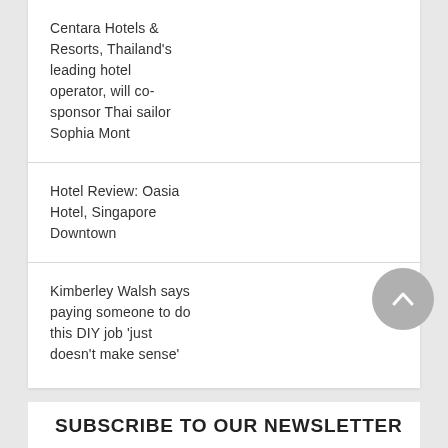Centara Hotels & Resorts, Thailand's leading hotel operator, will co-sponsor Thai sailor Sophia Mont
Hotel Review: Oasia Hotel, Singapore Downtown
Kimberley Walsh says paying someone to do this DIY job 'just doesn't make sense'
SUBSCRIBE TO OUR NEWSLETTER